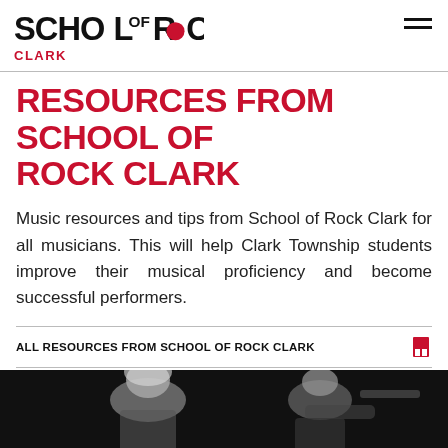SCHOOL OF ROCK — CLARK
RESOURCES FROM SCHOOL OF ROCK CLARK
Music resources and tips from School of Rock Clark for all musicians. This will help Clark Township students improve their musical proficiency and become successful performers.
ALL RESOURCES FROM SCHOOL OF ROCK CLARK
[Figure (photo): Black and white photo of musicians, showing a blonde performer and a guitarist, bottom portion of the page]